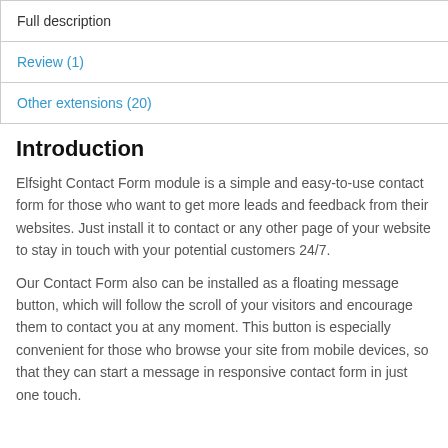| Full description |
| Review (1) |
| Other extensions (20) |
Introduction
Elfsight Contact Form module is a simple and easy-to-use contact form for those who want to get more leads and feedback from their websites. Just install it to contact or any other page of your website to stay in touch with your potential customers 24/7.
Our Contact Form also can be installed as a floating message button, which will follow the scroll of your visitors and encourage them to contact you at any moment. This button is especially convenient for those who browse your site from mobile devices, so that they can start a message in responsive contact form in just one touch.